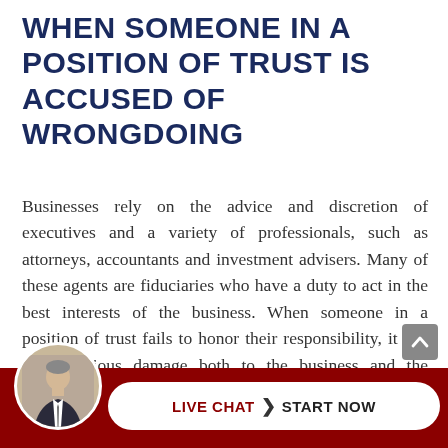WHEN SOMEONE IN A POSITION OF TRUST IS ACCUSED OF WRONGDOING
Businesses rely on the advice and discretion of executives and a variety of professionals, such as attorneys, accountants and investment advisers. Many of these agents are fiduciaries who have a duty to act in the best interests of the business. When someone in a position of trust fails to honor their responsibility, it can cause serious damage both to the business and the fiduciary's professional reputation. The Law Offices of Donald W. Hudspeth P.C. in Phoenix is sensitive to this problem and provides authoritative legal advice to fiduciaries and clients throughout Arizona. If you are involved in
[Figure (photo): Circular avatar photo of a man in a suit (attorney) overlapping the dark red bottom bar]
[Figure (infographic): White pill-shaped Live Chat button with 'LIVE CHAT > START NOW' text on dark red background bar]